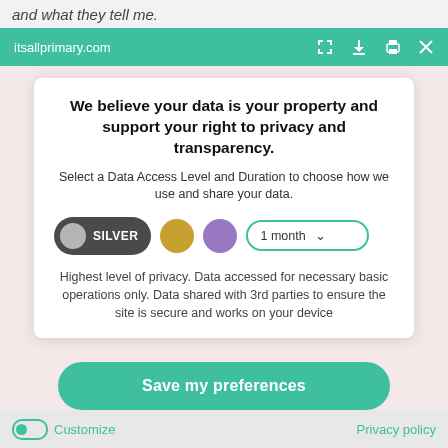and what they tell me.
itsallprimary.com
We believe your data is your property and support your right to privacy and transparency.
Select a Data Access Level and Duration to choose how we use and share your data.
[Figure (infographic): Privacy level selector showing SILVER button (dark grey pill with grey circle), gold circle, purple circle, and a '1 month' dropdown with teal border]
Highest level of privacy. Data accessed for necessary basic operations only. Data shared with 3rd parties to ensure the site is secure and works on your device
Save my preferences
Customize
Privacy policy